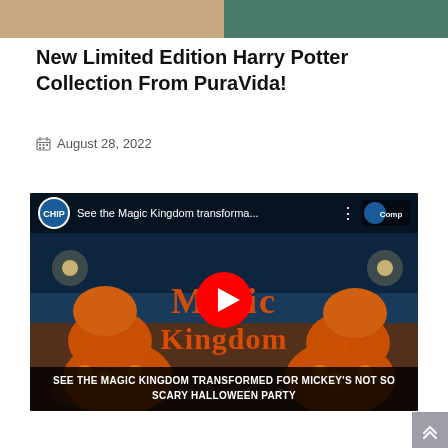[Figure (photo): Top portion of a photo strip showing two images side by side: left is a warm-toned image and right is a dark green/teal toned image]
New Limited Edition Harry Potter Collection From PuraVida!
August 28, 2022
[Figure (screenshot): YouTube video thumbnail showing Magic Kingdom decorated for Mickey's Not So Scary Halloween Party with stacked jack-o-lanterns, the Magic Kingdom logo in orange decorative text, a YouTube play button in the center. Video title: 'See the Magic Kingdom transforma...' with caption 'SEE THE MAGIC KINGDOM TRANSFORMED FOR MICKEY'S NOT SO SCARY HALLOWEEN PARTY']
[Figure (other): Scroll-to-top button with double up-arrow chevron icon in gray]